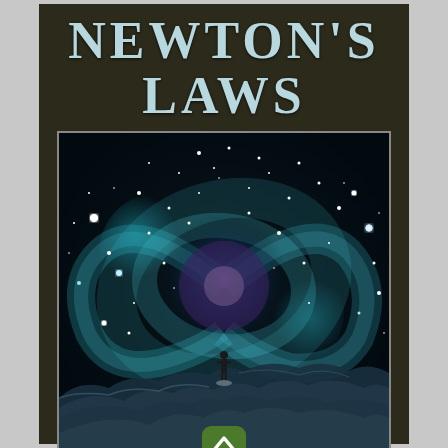NEWTON'S LAWS
[Figure (illustration): A dramatic cosmic scene showing a swirling spiral galaxy or vortex of stars in teal, blue, and purple hues with glowing stars and nebula, with clouds at the bottom and a small human figure standing at the center looking up into the cosmic vortex. A green rounded-square button with an upward chevron arrow is overlaid at the bottom center of the image.]